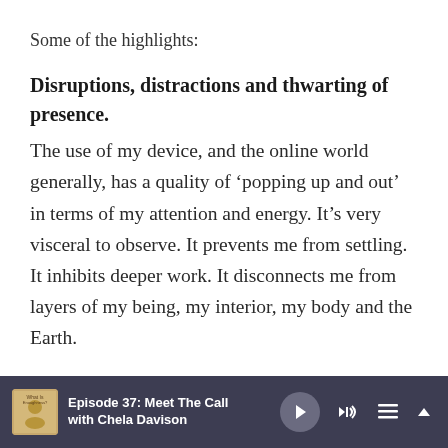Some of the highlights:
Disruptions, distractions and thwarting of presence.
The use of my device, and the online world generally, has a quality of ‘popping up and out’ in terms of my attention and energy. It’s very visceral to observe. It prevents me from settling. It inhibits deeper work. It disconnects me from layers of my being, my interior, my body and the Earth.
Episode 37: Meet The Call with Chela Davison